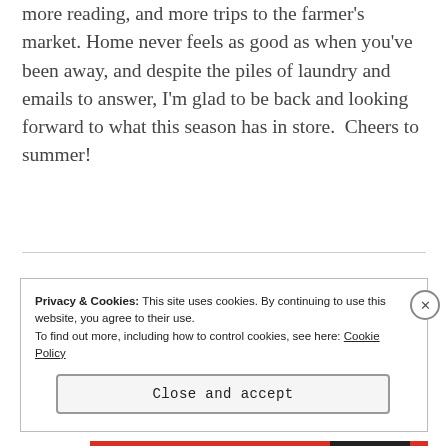more reading, and more trips to the farmer's market. Home never feels as good as when you've been away, and despite the piles of laundry and emails to answer, I'm glad to be back and looking forward to what this season has in store.  Cheers to summer!
Privacy & Cookies: This site uses cookies. By continuing to use this website, you agree to their use.
To find out more, including how to control cookies, see here: Cookie Policy
Close and accept